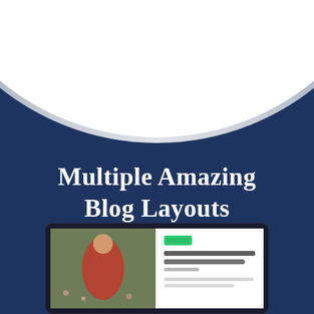[Figure (illustration): Dark navy blue background with a large white circle/arc shape at the top creating a curved concave cutout with a subtle gray gradient border. Below the curve is the dark navy background. At the bottom is a partial screenshot of a blog layout interface showing a photo of a woman in red dress and a blog post card.]
Multiple Amazing Blog Layouts